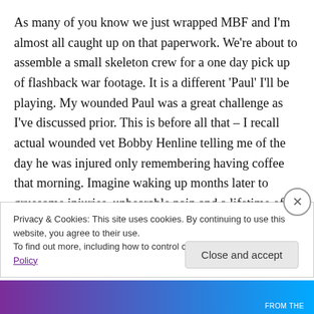As many of you know we just wrapped MBF and I'm almost all caught up on that paperwork. We're about to assemble a small skeleton crew for a one day pick up of flashback war footage. It is a different 'Paul' I'll be playing. My wounded Paul was a great challenge as I've discussed prior. This is before all that – I recall actual wounded vet Bobby Henline telling me of the day he was injured only remembering having coffee that morning. Imagine waking up months later to gruesome injuries, unbearable pain and a lifetime of living vastly different. We all have those
Privacy & Cookies: This site uses cookies. By continuing to use this website, you agree to their use.
To find out more, including how to control cookies, see here: Cookie Policy
Close and accept